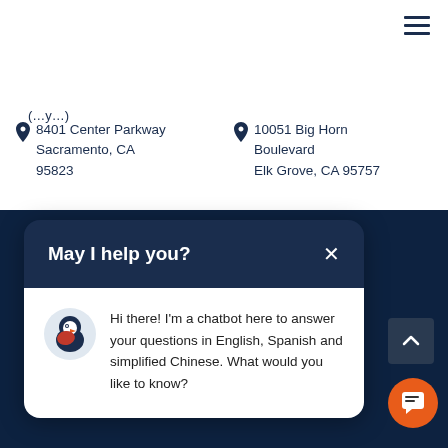[Figure (screenshot): Hamburger menu icon (three horizontal lines) in dark navy, top right corner]
8401 Center Parkway Sacramento, CA 95823
10051 Big Horn Boulevard Elk Grove, CA 95757
May I help you?
Hi there! I'm a chatbot here to answer your questions in English, Spanish and simplified Chinese. What would you like to know?